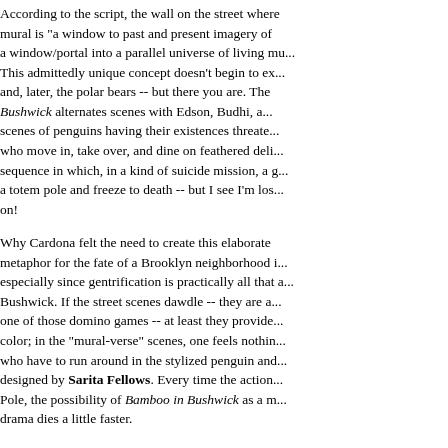According to the script, the wall on the street where the mural is "a window to past and present imagery of a window/portal into a parallel universe of living mu... This admittedly unique concept doesn't begin to ex... and, later, the polar bears -- but there you are. The Bushwick alternates scenes with Edson, Budhi, an... scenes of penguins having their existences threate... who move in, take over, and dine on feathered deli... sequence in which, in a kind of suicide mission, a g... a totem pole and freeze to death -- but I see I'm los... on!
Why Cardona felt the need to create this elaborate metaphor for the fate of a Brooklyn neighborhood i... especially since gentrification is practically all that a... Bushwick. If the street scenes dawdle -- they are a... one of those domino games -- at least they provide... color; in the "mural-verse" scenes, one feels nothin... who have to run around in the stylized penguin and... designed by Sarita Fellows. Every time the action ... Pole, the possibility of Bamboo in Bushwick as a m... drama dies a little faster.
The cast does the business of playing both human... pros they are: Arisael Rivera (Edson), José Anto... Edna Lee Figueroa (Magalia), John J. Concado... Michelle Sui (Budhi). Nirt is lucky enough to have... which he disabuses the others of the notion that he... privileged background, and Clinton Lowe makes t...